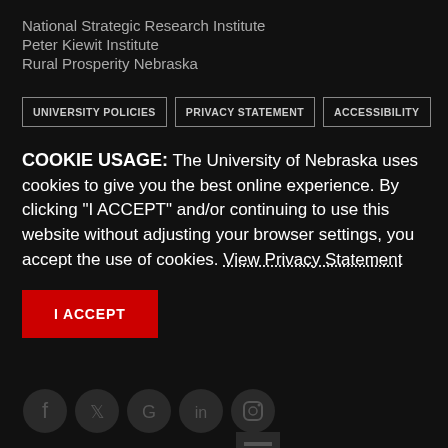National Strategic Research Institute
Peter Kiewit Institute
Rural Prosperity Nebraska
UNIVERSITY POLICIES | PRIVACY STATEMENT | ACCESSIBILITY
COOKIE USAGE: The University of Nebraska uses cookies to give you the best online experience. By clicking “I ACCEPT” and/or continuing to use this website without adjusting your browser settings, you accept the use of cookies. View Privacy Statement
I ACCEPT
[Figure (other): Social media icons: Facebook, Twitter, Google, LinkedIn, Instagram, and one more icon below]